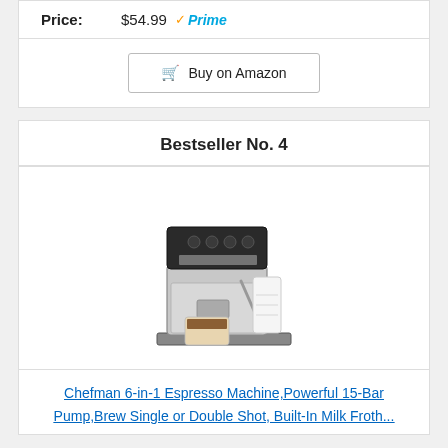Price: $54.99 Prime
Buy on Amazon
Bestseller No. 4
[Figure (photo): Chefman 6-in-1 Espresso Machine product photo, silver and black with milk frother and cup]
Chefman 6-in-1 Espresso Machine,Powerful 15-Bar Pump,Brew Single or Double Shot, Built-In Milk Froth...